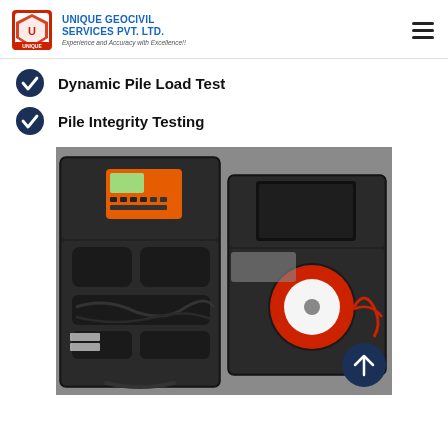UNIQUE GEOCIVIL SERVICES PVT. LTD. — Experience and Accuracy with Excellence!!
Dynamic Pile Load Test
Pile Integrity Testing
[Figure (photo): Two open equipment cases on a grey surface. The left case contains an orange and black electronic instrument with a digital display and various cables and accessories. The right case contains a device with a circular sensor/disc component and red cables.]